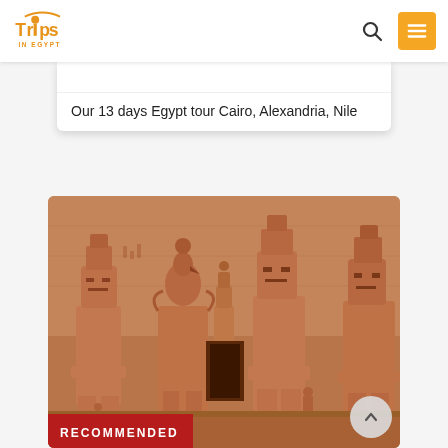Trips in Egypt - navigation bar with logo, search icon, and menu button
Our 13 days Egypt tour Cairo, Alexandria, Nile
[Figure (photo): Abu Simbel temple facade showing four large seated colossal statues of Ramesses II carved from sandstone rock, warm reddish-brown tones]
RECOMMENDED